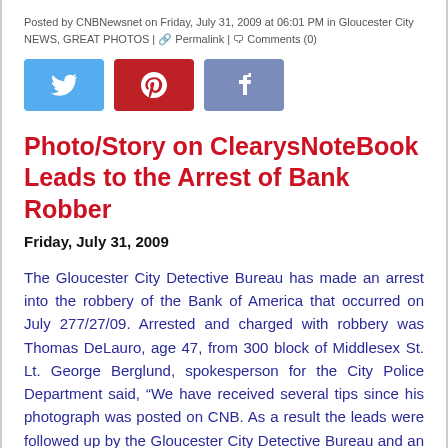Posted by CNBNewsnet on Friday, July 31, 2009 at 06:01 PM in Gloucester City NEWS, GREAT PHOTOS | Permalink | Comments (0)
[Figure (infographic): Three social media buttons: Twitter (blue), Pinterest (red), Facebook (muted blue)]
Photo/Story on ClearysNoteBook Leads to the Arrest of Bank Robber
Friday, July 31, 2009
The Gloucester City Detective Bureau has made an arrest into the robbery of the Bank of America that occurred on July 277/27/09. Arrested and charged with robbery was Thomas DeLauro, age 47, from 300 block of Middlesex St. Lt. George Berglund, spokesperson for the City Police Department said, “We have received several tips since his photograph was posted on CNB. As a result the leads were followed up by the Gloucester City Detective Bureau and an arrest was